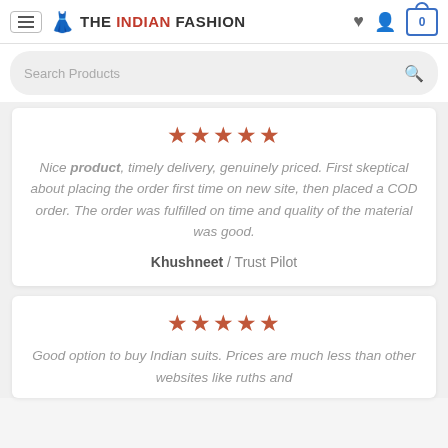THE INDIAN FASHION
Search Products
Nice product, timely delivery, genuinely priced. First skeptical about placing the order first time on new site, then placed a COD order. The order was fulfilled on time and quality of the material was good.
Khushneet / Trust Pilot
Good option to buy Indian suits. Prices are much less than other websites like ruths and